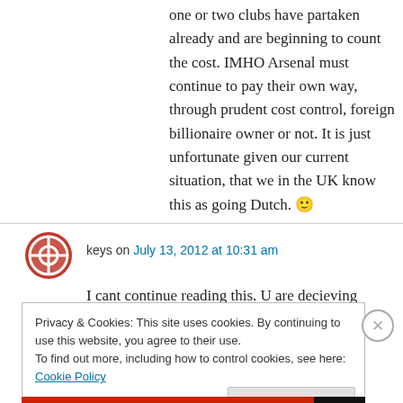one or two clubs have partaken already and are beginning to count the cost. IMHO Arsenal must continue to pay their own way, through prudent cost control, foreign billionaire owner or not. It is just unfortunate given our current situation, that we in the UK know this as going Dutch. 🙂
keys on July 13, 2012 at 10:31 am
I cant continue reading this. U are decieving
Privacy & Cookies: This site uses cookies. By continuing to use this website, you agree to their use.
To find out more, including how to control cookies, see here: Cookie Policy